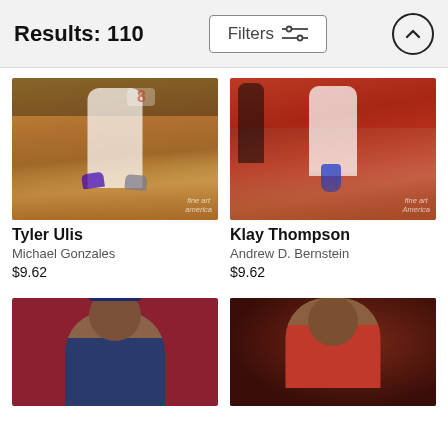Results: 110
[Figure (photo): Tyler Ulis basketball player action shot on court, wearing jersey number 8, Phoenix Suns uniform with purple shoes]
[Figure (photo): Klay Thompson basketball player action shot on court, wearing Golden State Warriors uniform, blue shoes, crowd in red shirts in background]
Tyler Ulis
Michael Gonzales
$9.62
Klay Thompson
Andrew D. Bernstein
$9.62
[Figure (photo): Basketball player in dark blue jersey smiling, posed against red background]
[Figure (photo): Basketball player smiling against dark textured red/brown background]